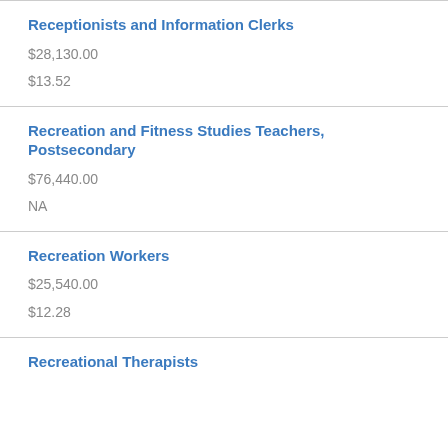Receptionists and Information Clerks
$28,130.00
$13.52
Recreation and Fitness Studies Teachers, Postsecondary
$76,440.00
NA
Recreation Workers
$25,540.00
$12.28
Recreational Therapists